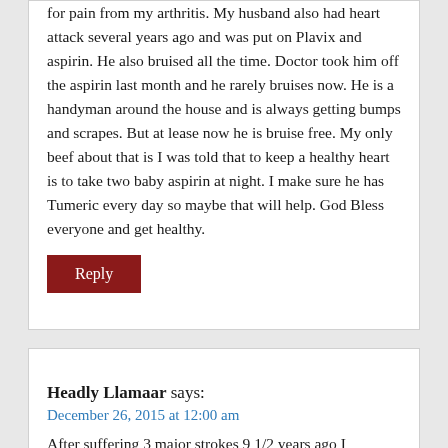for pain from my arthritis. My husband also had heart attack several years ago and was put on Plavix and aspirin. He also bruised all the time. Doctor took him off the aspirin last month and he rarely bruises now. He is a handyman around the house and is always getting bumps and scrapes. But at lease now he is bruise free. My only beef about that is I was told that to keep a healthy heart is to take two baby aspirin at night. I make sure he has Tumeric every day so maybe that will help. God Bless everyone and get healthy.
Reply
Headly Llamaar says:
December 26, 2015 at 12:00 am
After suffering 3 major strokes 9 1/2 years ago I